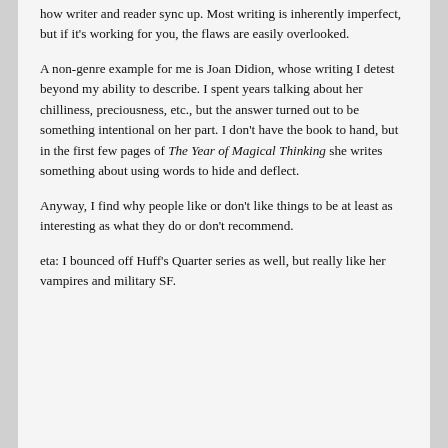how writer and reader sync up. Most writing is inherently imperfect, but if it's working for you, the flaws are easily overlooked.
A non-genre example for me is Joan Didion, whose writing I detest beyond my ability to describe. I spent years talking about her chilliness, preciousness, etc., but the answer turned out to be something intentional on her part. I don't have the book to hand, but in the first few pages of The Year of Magical Thinking she writes something about using words to hide and deflect.
Anyway, I find why people like or don't like things to be at least as interesting as what they do or don't recommend.
eta: I bounced off Huff's Quarter series as well, but really like her vampires and military SF.